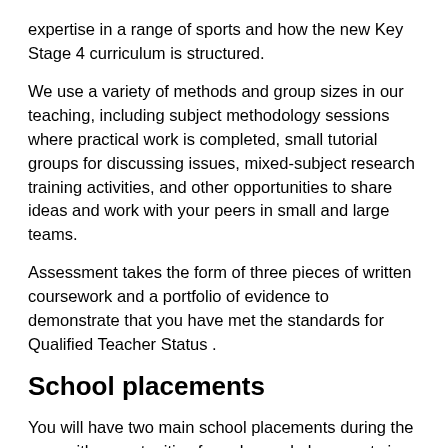expertise in a range of sports and how the new Key Stage 4 curriculum is structured.
We use a variety of methods and group sizes in our teaching, including subject methodology sessions where practical work is completed, small tutorial groups for discussing issues, mixed-subject research training activities, and other opportunities to share ideas and work with your peers in small and large teams.
Assessment takes the form of three pieces of written coursework and a portfolio of evidence to demonstrate that you have met the standards for Qualified Teacher Status .
School placements
You will have two main school placements during the year with opportunities for enhanced placements in a primary school and Green Lane Special School. Placement 1 will take place from September to December and Placement 2 will take place from January to June.
One of your placements will be at Great Snedton High School...